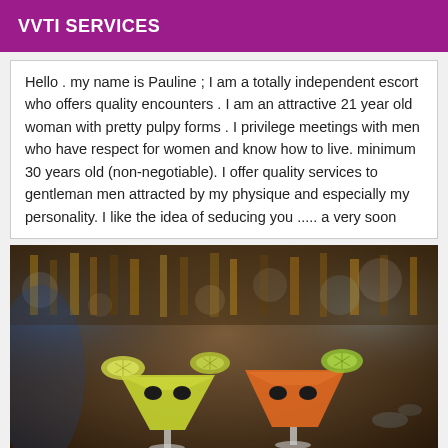VVTI SERVICES
Hello . my name is Pauline ; I am a totally independent escort who offers quality encounters . I am an attractive 21 year old woman with pretty pulpy forms . I privilege meetings with men who have respect for women and know how to live. minimum 30 years old (non-negotiable). I offer quality services to gentleman men attracted by my physique and especially my personality. I like the idea of seducing you ..... a very soon
[Figure (photo): Photo of two cocktail glasses decorated with citrus slices and olive-like eyes to look like faces, one green/yellow and one orange, set against a blurred bar background]